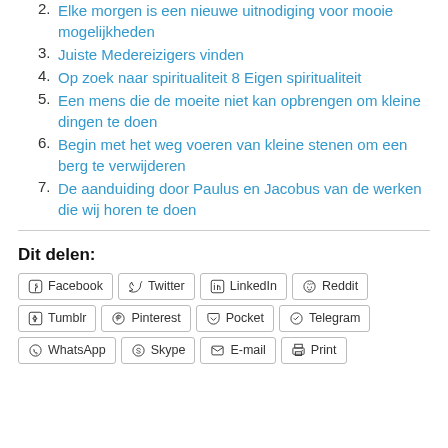2. Elke morgen is een nieuwe uitnodiging voor mooie mogelijkheden
3. Juiste Medereizigers vinden
4. Op zoek naar spiritualiteit 8 Eigen spiritualiteit
5. Een mens die de moeite niet kan opbrengen om kleine dingen te doen
6. Begin met het weg voeren van kleine stenen om een berg te verwijderen
7. De aanduiding door Paulus en Jacobus van de werken die wij horen te doen
Dit delen:
Facebook Twitter LinkedIn Reddit Tumblr Pinterest Pocket Telegram WhatsApp Skype E-mail Print